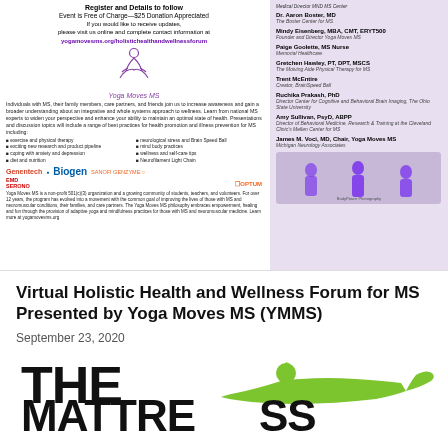Register and Details to follow
Event is Free of Charge—$25 Donation Appreciated
If you would like to receive updates, please visit us online and complete contact information at yogamovesms.org/holistichealthandwellnessforum
[Figure (logo): Yoga Moves MS logo with meditation figure]
Individuals with MS, their family members, care partners, and friends join us to increase awareness and gain a broader understanding about an integrative and whole systems approach to wellness. Learn from national MS experts to widen your perspective and enhance your ability to maintain an optimal state of health. Presentations and discussion topics will include a range of best practices for health promotion and illness prevention for MS including:
exercise and physical therapy
exciting new research and product pipeline
coping with anxiety and depression
diet and nutrition
neuroloical stress and Brain Speed Ball
mind body practices
wellness and self-care tips
Neurofilament Light Chain
[Figure (logo): Sponsor logos: Genentech, Biogen, SANOFI GENZYME, EMD SERONO, OPTUM]
Yoga Moves MS is a non-profit 501(c)(3) organization and a growing community of students, teachers, and volunteers. For over 12 years, the program has evolved into a movement with the common goal of improving the lives of those with MS and neuromuscular conditions, their families, and care partners. The Yoga Moves MS philosophy embraces empowerment, healing and fun through the provision of adaptive yoga and mindfulness practices for those with MS and neuromuscular medicine. Learn more at yogamovesms.org
Medical Director MND MS Center
Dr. Aaron Boster, MD
The Boster Center for MS
Mindy Eisenberg, MBA, CMT, ERYT500
Founder and Director Yoga Moves MS
Paige Goolette, MS Nurse
Memorial Healthcare
Gretchen Hawley, PT, DPT, MSCS
The Moiving Aide Physical Therapy for MS
Trent McEntire
Creator, BrainSpeed Ball
Ruchika Prakash, PhD
Director Center for Cognitive and Behavioral Brain Imaging, The Ohio State University
Amy Sullivan, PsyD, ABPP
Director of Behavioral Medicine, Research & Training at the Cleveland Clinic's Mellen Center for MS
James M. Voci, MD, Chair, Yoga Moves MS
Michigan Neurology Associates
[Figure (photo): Three women in purple shirts doing yoga/wellness poses]
Virtual Holistic Health and Wellness Forum for MS Presented by Yoga Moves MS (YMMS)
September 23, 2020
[Figure (logo): THE MATTRESS logo with green yoga pose figure illustration]